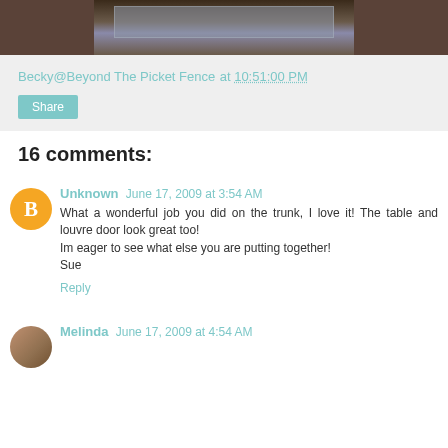[Figure (photo): Partial photo of a trunk or louvre door, dark brown wood tones with grey/blue element visible]
Becky@Beyond The Picket Fence at 10:51:00 PM
Share
16 comments:
Unknown June 17, 2009 at 3:54 AM
What a wonderful job you did on the trunk, I love it! The table and louvre door look great too!
Im eager to see what else you are putting together!
Sue
Reply
Melinda June 17, 2009 at 4:54 AM